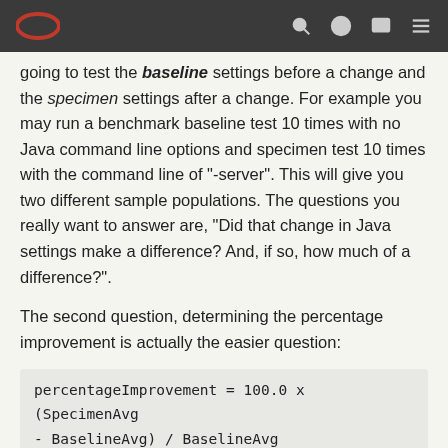Oracle logo and navigation bar
going to test the baseline settings before a change and the specimen settings after a change. For example you may run a benchmark baseline test 10 times with no Java command line options and specimen test 10 times with the command line of "-server". This will give you two different sample populations. The questions you really want to answer are, "Did that change in Java settings make a difference? And, if so, how much of a difference?".
The second question, determining the percentage improvement is actually the easier question:
The first question, "Did that change in Java settings make a difference?", is the most important question, however because what we really want to know is "Is the difference